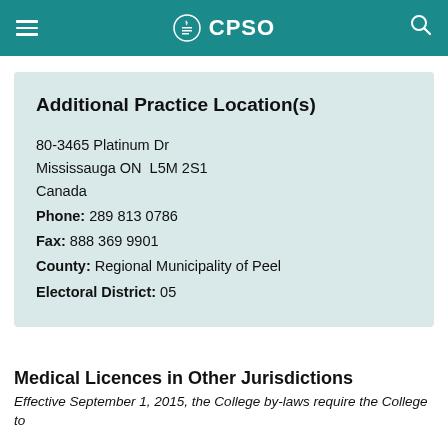CPSO
Additional Practice Location(s)
80-3465 Platinum Dr
Mississauga ON  L5M 2S1
Canada
Phone: 289 813 0786
Fax: 888 369 9901
County: Regional Municipality of Peel
Electoral District: 05
Medical Licences in Other Jurisdictions
Effective September 1, 2015, the College by-laws require the College to